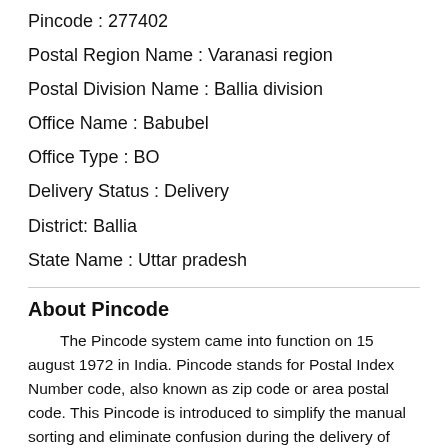Address of Babubel Pin Code
Pincode : 277402
Postal Region Name : Varanasi region
Postal Division Name : Ballia division
Office Name : Babubel
Office Type : BO
Delivery Status : Delivery
District: Ballia
State Name : Uttar pradesh
About Pincode
The Pincode system came into function on 15 august 1972 in India. Pincode stands for Postal Index Number code, also known as zip code or area postal code. This Pincode is introduced to simplify the manual sorting and eliminate confusion during the delivery of mails.